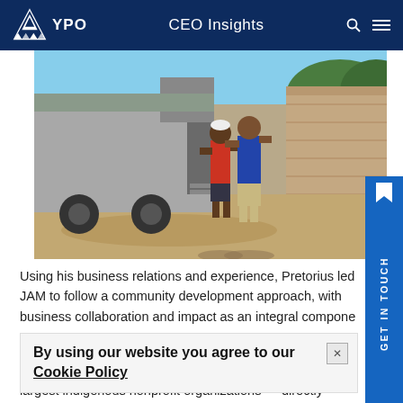YPO | CEO Insights
[Figure (photo): Two people unloading goods from a truck on a dirt road next to a mud brick wall in an African setting.]
Using his business relations and experience, Pretorius led JAM to follow a community development approach, with business collaboration and impact as an integral compone
By using our website you agree to our Cookie Policy
largest indigenous nonprofit organizations — directly